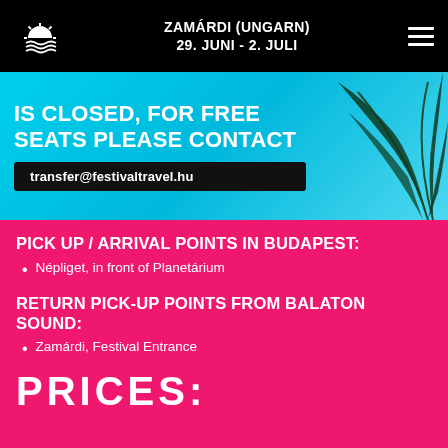ZAMÁRDI (UNGARN) 29. JUNI - 2. JULI
[Figure (screenshot): Festival transfer promotional banner with cyan/blue gradient background, palm leaf decoration. Text reads: 'IS CLOSED, FOR FREE SEATS PLEASE CONTACT' with email 'transfer@festivaltravel.hu' in a dark box.]
PICK UP / ARRIVAL POINTS IN BUDAPEST:
Népliget, in front of Planetárium
RETURN PICK-UP POINTS FROM BALATON SOUND:
Zamárdi, Festival Entrance
PRICES: